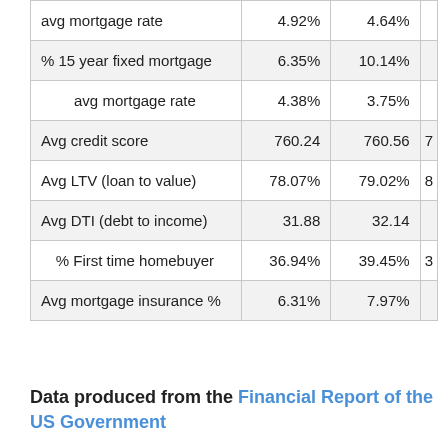|  | Col1 | Col2 | Col3 |
| --- | --- | --- | --- |
| avg mortgage rate | 4.92% | 4.64% |  |
| % 15 year fixed mortgage | 6.35% | 10.14% |  |
| avg mortgage rate | 4.38% | 3.75% |  |
| Avg credit score | 760.24 | 760.56 | 7 |
| Avg LTV (loan to value) | 78.07% | 79.02% | 8 |
| Avg DTI (debt to income) | 31.88 | 32.14 |  |
| % First time homebuyer | 36.94% | 39.45% | 3 |
| Avg mortgage insurance % | 6.31% | 7.97% |  |
Data produced from the Financial Report of the US Government